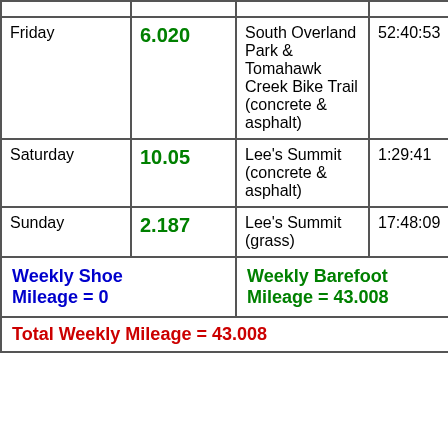| Day | Miles | Location | Time |
| --- | --- | --- | --- |
| Friday | 6.020 | South Overland Park & Tomahawk Creek Bike Trail (concrete & asphalt) | 52:40:53 |
| Saturday | 10.05 | Lee's Summit (concrete & asphalt) | 1:29:41 |
| Sunday | 2.187 | Lee's Summit (grass) | 17:48:09 |
| Weekly Shoe Mileage = 0 |  | Weekly Barefoot Mileage = 43.008 |  |
| Total Weekly Mileage = 43.008 |  |  |  |